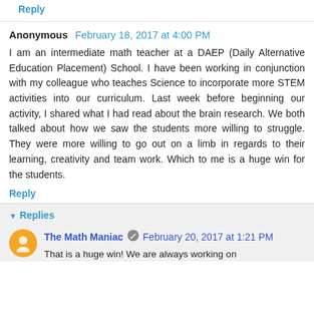Reply
Anonymous  February 18, 2017 at 4:00 PM
I am an intermediate math teacher at a DAEP (Daily Alternative Education Placement) School. I have been working in conjunction with my colleague who teaches Science to incorporate more STEM activities into our curriculum. Last week before beginning our activity, I shared what I had read about the brain research. We both talked about how we saw the students more willing to struggle. They were more willing to go out on a limb in regards to their learning, creativity and team work. Which to me is a huge win for the students.
Reply
Replies
The Math Maniac  February 20, 2017 at 1:21 PM
That is a huge win! We are always working on